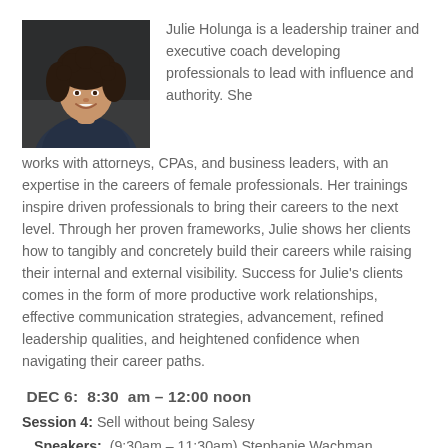[Figure (photo): Headshot photo of Julie Holunga, a woman with curly dark hair, smiling, wearing a dark patterned top, against a dark background.]
Julie Holunga is a leadership trainer and executive coach developing professionals to lead with influence and authority. She works with attorneys, CPAs, and business leaders, with an expertise in the careers of female professionals. Her trainings inspire driven professionals to bring their careers to the next level. Through her proven frameworks, Julie shows her clients how to tangibly and concretely build their careers while raising their internal and external visibility. Success for Julie's clients comes in the form of more productive work relationships, effective communication strategies, advancement, refined leadership qualities, and heightened confidence when navigating their career paths.
DEC 6:  8:30  am – 12:00 noon
Session 4: Sell without being Salesy
Speakers:  (9:30am – 11:30am) Stephanie Wachman, Symetree Strategies; Julie Holunga, Chinook Executive